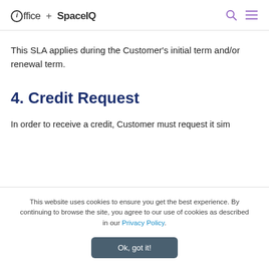ioffice + SpaceIQ
This SLA applies during the Customer's initial term and/or renewal term.
4. Credit Request
In order to receive a credit, Customer must request it sim
This website uses cookies to ensure you get the best experience. By continuing to browse the site, you agree to our use of cookies as described in our Privacy Policy.
Ok, got it!